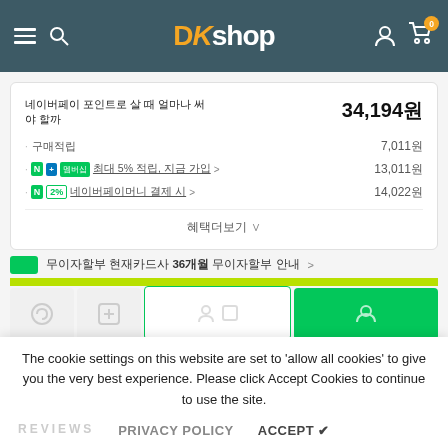DKshop navigation header
네이버페이 포인트로 살 때 얼마나 써야 할까 34,194원
구매적립 7,011원
N+ 멤버십 최대 5% 적립, 지금 가입 > 13,011원
N 2% 네이버페이머니 결제 시 > 14,022원
혜택더보기 ∨
무이자할부 현재카드사 36개월 무이자할부 안내 >
The cookie settings on this website are set to 'allow all cookies' to give you the very best experience. Please click Accept Cookies to continue to use the site.
PRIVACY POLICY   ACCEPT ✔
REVIEWS